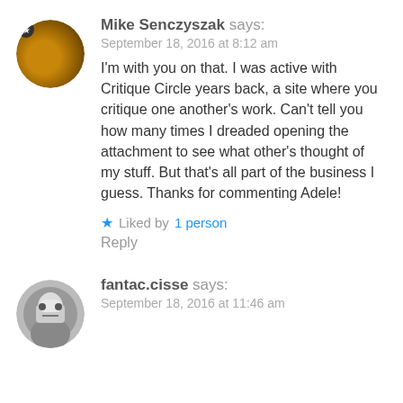[Figure (photo): Circular avatar photo of Mike Senczyszak with dark background and yellow/amber lighting, small star badge in top-left]
Mike Senczyszak says:
September 18, 2016 at 8:12 am
I'm with you on that. I was active with Critique Circle years back, a site where you critique one another's work. Can't tell you how many times I dreaded opening the attachment to see what other's thought of my stuff. But that's all part of the business I guess. Thanks for commenting Adele!
★ Liked by 1 person
Reply
[Figure (photo): Circular avatar photo of fantac.cisse, black and white metallic/robotic appearance]
fantac.cisse says:
September 18, 2016 at 11:46 am